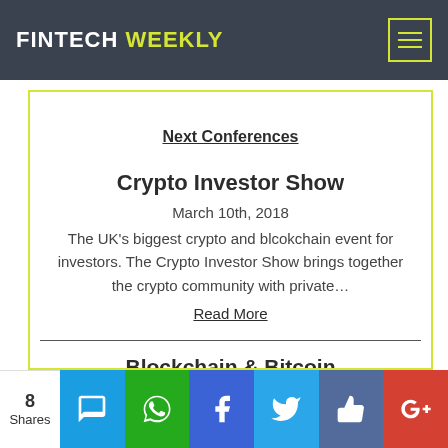FINTECH WEEKLY
Next Conferences
Crypto Investor Show
March 10th, 2018
The UK's biggest crypto and blcokchain event for investors. The Crypto Investor Show brings together the crypto community with private...
Read More
Blockchain & Bitcoin Conference St. Petersburg